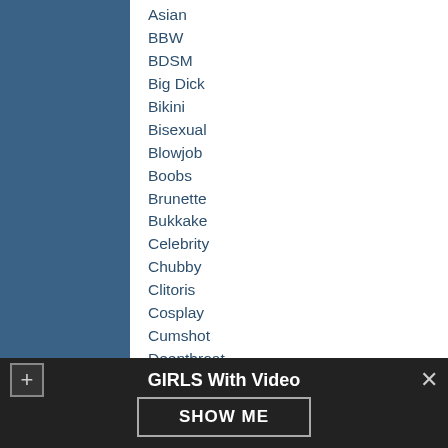Asian
BBW
BDSM
Big Dick
Bikini
Bisexual
Blowjob
Boobs
Brunette
Bukkake
Celebrity
Chubby
Clitoris
Cosplay
Cumshot
Deepthroat
Dildo
Domination
Drunk
Ebony
Erotic
Facial
Femdom
Fetish
Fisting
Lesbian
Licking
Masturbate
Midget
Milf
Multiple
Naked
Orgasm
Orgy
Other
Pantyhose
Penetration
Pics
Pissing
Porno
Pornostar
Pussy
Redhead
Sex position
Shaved
Shower
Slut
Solo
Spank
Strip
GIRLS With Video
SHOW ME